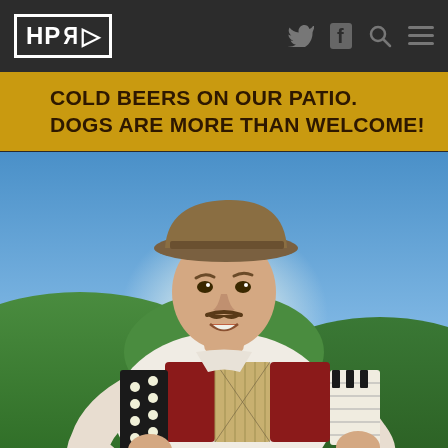HPR
COLD BEERS ON OUR PATIO. DOGS ARE MORE THAN WELCOME!
[Figure (photo): A man wearing a wide-brim brown hat and white shirt playing a red accordion, smiling, with a green hilly landscape and blue sky in the background.]